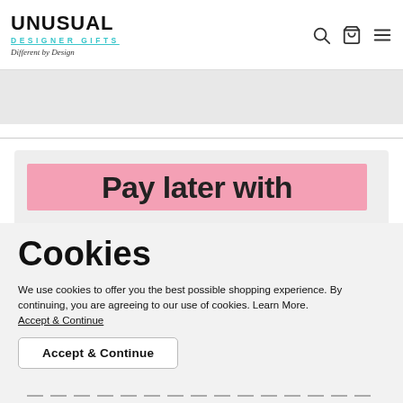[Figure (logo): Unusual Designer Gifts logo with tagline 'Different by Design']
[Figure (screenshot): Pink banner with partial text 'Pay later with']
Cookies
We use cookies to offer you the best possible shopping experience. By continuing, you are agreeing to our use of cookies. Learn More.
Accept & Continue
Accept & Continue